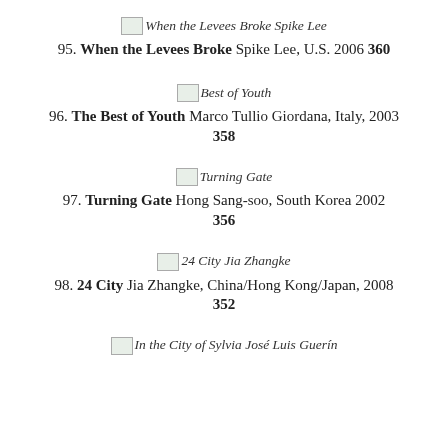[Figure (illustration): Thumbnail image placeholder for 'When the Levees Broke' by Spike Lee]
95. When the Levees Broke Spike Lee, U.S. 2006 360
[Figure (illustration): Thumbnail image placeholder for 'Best of Youth']
96. The Best of Youth Marco Tullio Giordana, Italy, 2003 358
[Figure (illustration): Thumbnail image placeholder for 'Turning Gate']
97. Turning Gate Hong Sang-soo, South Korea 2002 356
[Figure (illustration): Thumbnail image placeholder for '24 City' by Jia Zhangke]
98. 24 City Jia Zhangke, China/Hong Kong/Japan, 2008 352
[Figure (illustration): Thumbnail image placeholder for 'In the City of Sylvia' by José Luis Guerin (partially visible)]